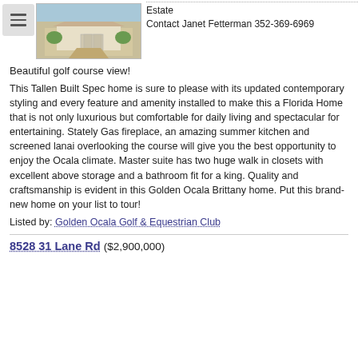[Figure (photo): Exterior photo of a Florida home with driveway and landscaping]
Estate
Contact Janet Fetterman 352-369-6969
Beautiful golf course view!
This Tallen Built Spec home is sure to please with its updated contemporary styling and every feature and amenity installed to make this a Florida Home that is not only luxurious but comfortable for daily living and spectacular for entertaining. Stately Gas fireplace, an amazing summer kitchen and screened lanai overlooking the course will give you the best opportunity to enjoy the Ocala climate. Master suite has two huge walk in closets with excellent above storage and a bathroom fit for a king. Quality and craftsmanship is evident in this Golden Ocala Brittany home. Put this brand-new home on your list to tour!
Listed by: Golden Ocala Golf & Equestrian Club
8528 31 Lane Rd ($2,900,000)